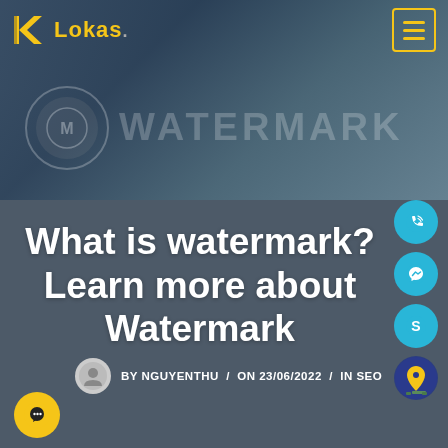[Figure (screenshot): Lokas website header with yellow logo on dark blue/grey hero image background with watermark overlay text]
Lokas . [menu icon]
What is watermark? Learn more about Watermark
BY NGUYENTHU / ON 23/06/2022 / IN SEO